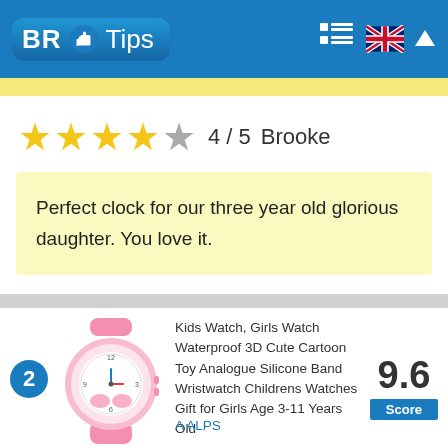[Figure (logo): BR Tips logo with thumbs up icon on blue background header, with grid/list icon and UK flag on right]
4 / 5   Brooke
Perfect clock for our three year old glorious daughter. You love it.
[Figure (photo): Pink kids wristwatch with cartoon unicorn design and silicone band]
Kids Watch, Girls Watch Waterproof 3D Cute Cartoon Toy Analogue Silicone Band Wristwatch Childrens Watches Gift for Girls Age 3-11 Years Old
A ALPS
9.6 Score